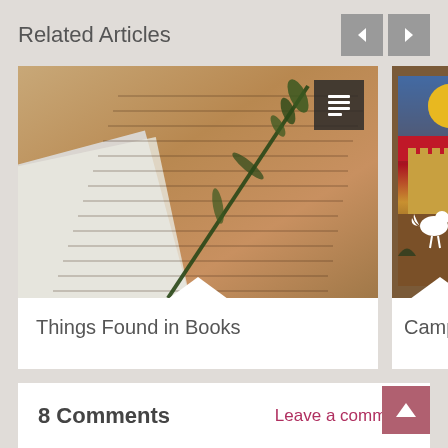Related Articles
[Figure (photo): Open book with a grass stalk/plant stem laid across the pages, photographed at an angle]
Things Found in Books
[Figure (photo): Partial view of a decorative artwork or sign reading 'CAMP C...' with a rooster silhouette and a yellow sun against a blue sky background]
Camp C
8 Comments
Leave a comment